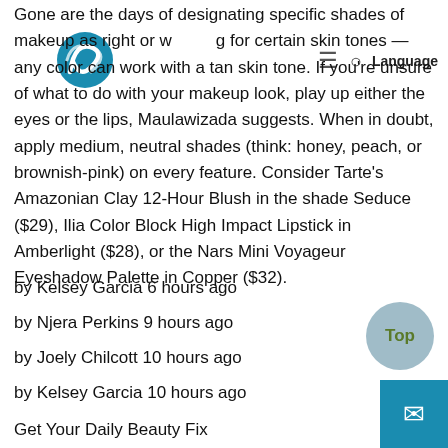Language [navigation icons]
Gone are the days of designating specific shades of makeup as right or wrong for certain skin tones — any color can work with a tan skin tone. If you're unsure of what to do with your makeup look, play up either the eyes or the lips, Maulawizada suggests. When in doubt, apply medium, neutral shades (think: honey, peach, or brownish-pink) on every feature. Consider Tarte's Amazonian Clay 12-Hour Blush in the shade Seduce ($29), Ilia Color Block High Impact Lipstick in Amberlight ($28), or the Nars Mini Voyageur Eyeshadow Palette in Copper ($32).
by Kelsey Garcia 6 hours ago
by Njera Perkins 9 hours ago
by Joely Chilcott 10 hours ago
by Kelsey Garcia 10 hours ago
Get Your Daily Beauty Fix